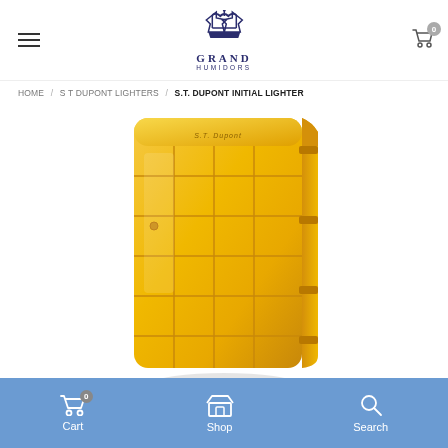Grand Humidors — Navigation header with logo
HOME / S T DUPONT LIGHTERS / S.T. DUPONT INITIAL LIGHTER
[Figure (photo): Gold S.T. Dupont Initial lighter with grid pattern finish, shown at an angle against white background]
Cart 0  Shop  Search